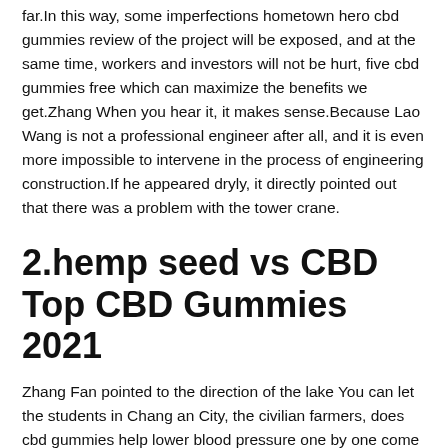far.In this way, some imperfections hometown hero cbd gummies review of the project will be exposed, and at the same time, workers and investors will not be hurt, five cbd gummies free which can maximize the benefits we get.Zhang When you hear it, it makes sense.Because Lao Wang is not a professional engineer after all, and it is even more impossible to intervene in the process of engineering construction.If he appeared dryly, it directly pointed out that there was a problem with the tower crane.
2.hemp seed vs CBD Top CBD Gummies 2021
Zhang Fan pointed to the direction of the lake You can let the students in Chang an City, the civilian farmers, does cbd gummies help lower blood pressure one by one come outside the lake for testing.And in order to facilitate the selection of Top CBD Gummies 2021 talented people, as long as someone can penetrate this golden formation, they can enter the lake At that time, Top CBD Gummies 2021 there will be experts who will come to